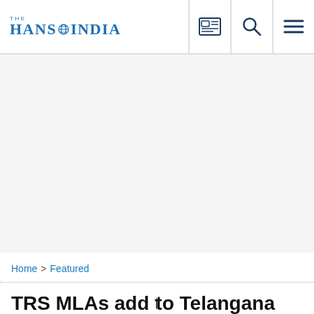THE HANS INDIA
[Figure (other): Advertisement / empty gray area]
Home > Featured
TRS MLAs add to Telangana